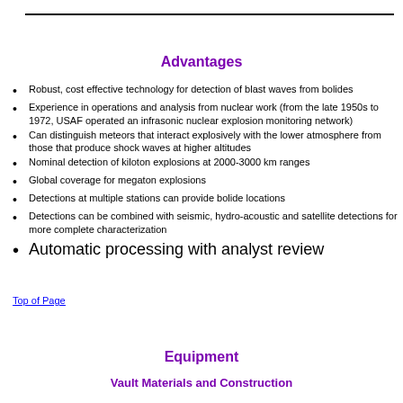Advantages
Robust, cost effective technology for detection of blast waves from bolides
Experience in operations and analysis from nuclear work (from the late 1950s to 1972, USAF operated an infrasonic nuclear explosion monitoring network)
Can distinguish meteors that interact explosively with the lower atmosphere from those that produce shock waves at higher altitudes
Nominal detection of kiloton explosions at 2000-3000 km ranges
Global coverage for megaton explosions
Detections at multiple stations can provide bolide locations
Detections can be combined with seismic, hydro-acoustic and satellite detections for more complete characterization
Automatic processing with analyst review
Top of Page
Equipment
Vault Materials and Construction